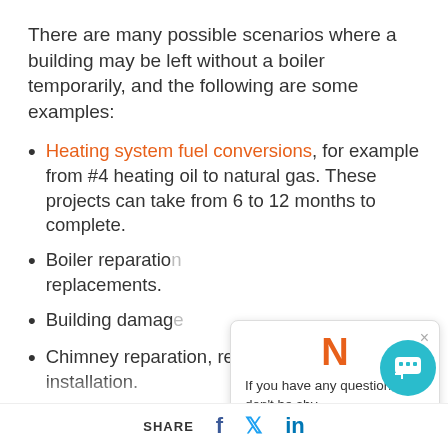There are many possible scenarios where a building may be left without a boiler temporarily, and the following are some examples:
Heating system fuel conversions, for example from #4 heating oil to natural gas. These projects can take from 6 to 12 months to complete.
Boiler reparation [partially obscured] replacements.
Building damage [partially obscured]
Chimney reparation, replacement or new liner installation.
Asbestos abatement on a boiler room requiring all equipment to be shut [cut off]